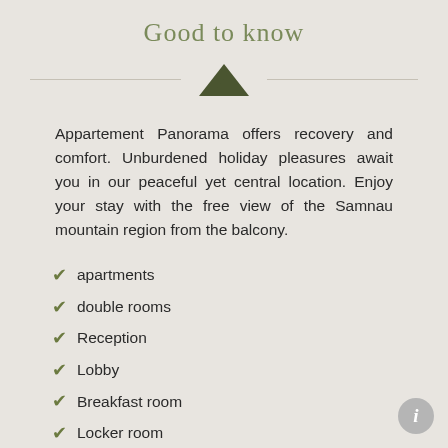Good to know
[Figure (illustration): Mountain peak silhouette icon in olive/dark green color with a horizontal divider line on both sides]
Appartement Panorama offers recovery and comfort. Unburdened holiday pleasures await you in our peaceful yet central location. Enjoy your stay with the free view of the Samnau mountain region from the balcony.
apartments
double rooms
Reception
Lobby
Breakfast room
Locker room
Fitness centre